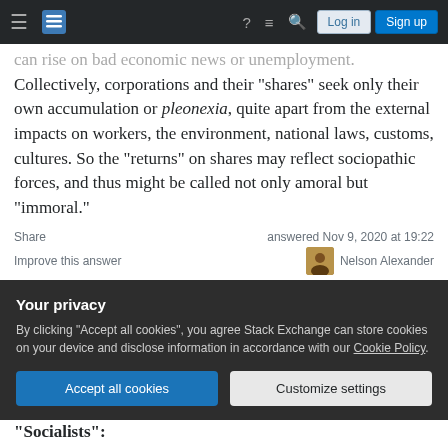Stack Exchange navigation bar with Log in and Sign up buttons
can rise on bad economic news or unemployment. Collectively, corporations and their "shares" seek only their own accumulation or pleonexia, quite apart from the external impacts on workers, the environment, national laws, customs, cultures. So the "returns" on shares may reflect sociopathic forces, and thus might be called not only amoral but "immoral."
Share
answered Nov 9, 2020 at 19:22
Improve this answer
Nelson Alexander
Your privacy
By clicking "Accept all cookies", you agree Stack Exchange can store cookies on your device and disclose information in accordance with our Cookie Policy.
Accept all cookies
Customize settings
"Socialists":